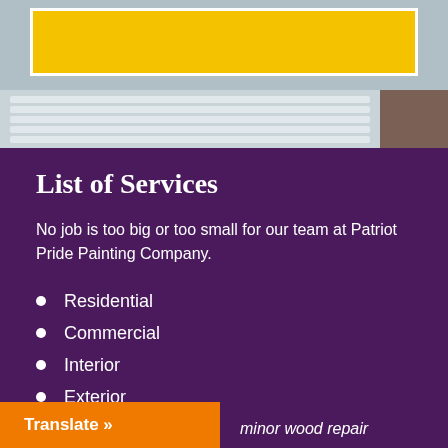[Figure (photo): Top portion showing a yellow box with white border over a house exterior with window blinds and brick/siding detail]
List of Services
No job is too big or too small for our team at Patriot Pride Painting Company.
Residential
Commercial
Interior
Exterior
minor wood repair
Translate »